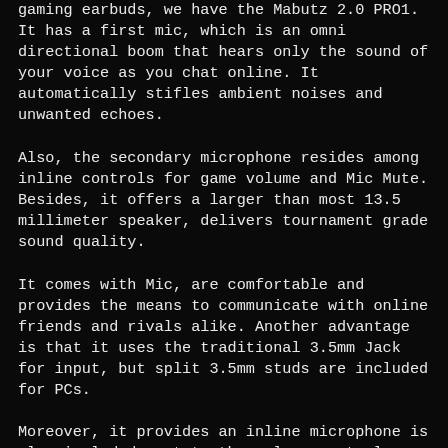gaming earbuds, we have the Mabutz 2.0 PRO1. It has a first mic, which is an omni directional boom that hears only the sound of your voice as you chat online. It automatically stifles ambient noises and unwanted echoes.
Also, the secondary microphone resides among inline controls for game volume and Mic Mute. Besides, it offers a larger than most 13.5 millimeter speaker, delivers tournament grade sound quality.
It comes with Mic, are comfortable and provides the means to communicate with online friends and rivals alike. Another advantage is that it uses the traditional 3.5mm Jack for input, but split 3.5mm studs are included for PCs.
Moreover, it provides an inline microphone is also included next to the volume controls on the devices cable.